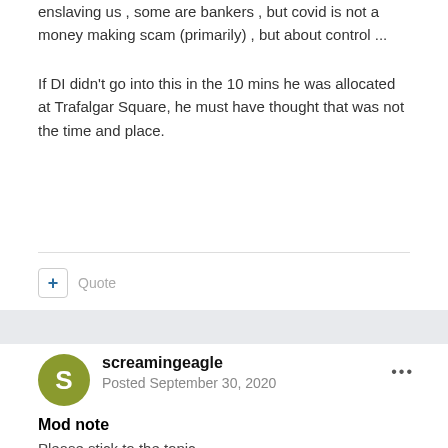enslaving us , some are bankers , but covid is not a money making scam (primarily) , but about control ...
If DI didn't go into this in the 10 mins he was allocated at Trafalgar Square, he must have thought that was not the time and place.
+ Quote
screamingeagle
Posted September 30, 2020
Mod note
Please stick to the topic....
+ Quote